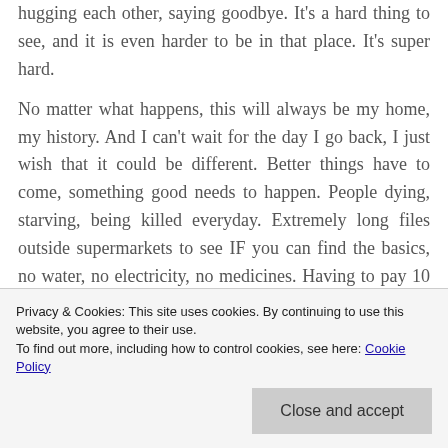hugging each other, saying goodbye. It's a hard thing to see, and it is even harder to be in that place. It's super hard.
No matter what happens, this will always be my home, my history. And I can't wait for the day I go back, I just wish that it could be different. Better things have to come, something good needs to happen. People dying, starving, being killed everyday. Extremely long files outside supermarkets to see IF you can find the basics, no water, no electricity, no medicines. Having to pay 10 ti...
Privacy & Cookies: This site uses cookies. By continuing to use this website, you agree to their use. To find out more, including how to control cookies, see here: Cookie Policy